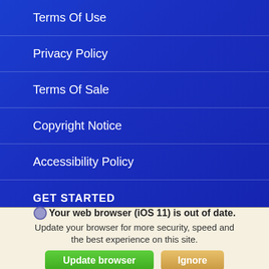Terms Of Use
Privacy Policy
Terms Of Sale
Copyright Notice
Accessibility Policy
GET STARTED
Sign In
Sign Up
Your web browser (iOS 11) is out of date. Update your browser for more security, speed and the best experience on this site.
Update browser   Ignore